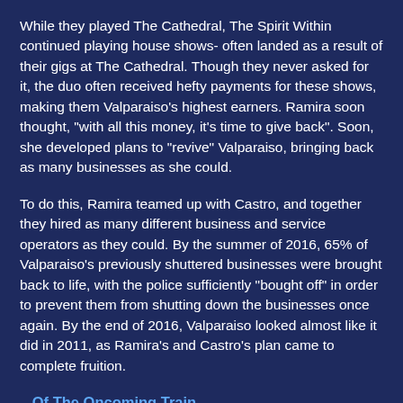While they played The Cathedral, The Spirit Within continued playing house shows- often landed as a result of their gigs at The Cathedral. Though they never asked for it, the duo often received hefty payments for these shows, making them Valparaiso's highest earners. Ramira soon thought, "with all this money, it's time to give back". Soon, she developed plans to "revive" Valparaiso, bringing back as many businesses as she could.
To do this, Ramira teamed up with Castro, and together they hired as many different business and service operators as they could. By the summer of 2016, 65% of Valparaiso's previously shuttered businesses were brought back to life, with the police sufficiently "bought off" in order to prevent them from shutting down the businesses once again. By the end of 2016, Valparaiso looked almost like it did in 2011, as Ramira's and Castro's plan came to complete fruition.
...Of The Oncoming Train
Other businesspeople caught on to what Castro and Ramira did, giving them money to profit, as if the spirits did...